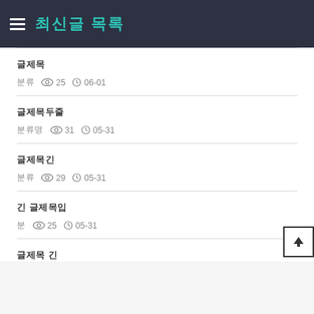최신글 목록
글제목
분류  👁 25  🕐 06-01
글제목두줄
분류명  👁 31  🕐 05-31
글제목긴
분류  👁 29  🕐 05-31
긴 글제목입
분  👁 25  🕐 05-31
글제목 긴